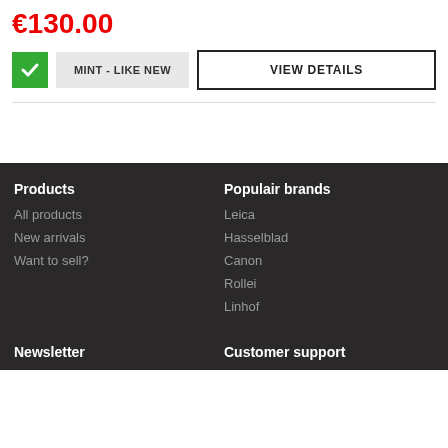€130.00
MINT - LIKE NEW
VIEW DETAILS
Products
All products
New arrivals
Want to sell?
Populair brands
Leica
Hasselblad
Canon
Rollei
Linhof
Newsletter
Customer support